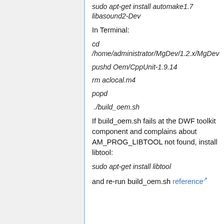sudo apt-get install automake1.7 libasound2-Dev
In Terminal:
cd /home/administrator/MgDev/1.2.x/MgDev
pushd Oem/CppUnit-1.9.14
rm aclocal.m4
popd
./build_oem.sh
If build_oem.sh fails at the DWF toolkit component and complains about AM_PROG_LIBTOOL not found, install libtool:
sudo apt-get install libtool
and re-run build_oem.sh reference